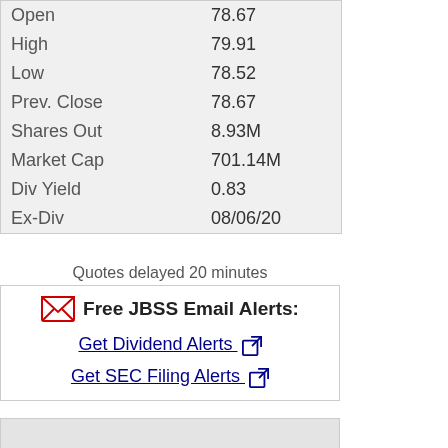|  |  |
| --- | --- |
| Open | 78.67 |
| High | 79.91 |
| Low | 78.52 |
| Prev. Close | 78.67 |
| Shares Out | 8.93M |
| Market Cap | 701.14M |
| Div Yield | 0.83 |
| Ex-Div | 08/06/20 |
Quotes delayed 20 minutes
Free JBSS Email Alerts:
Get Dividend Alerts
Get SEC Filing Alerts
[Figure (other): Empty gray box placeholder]